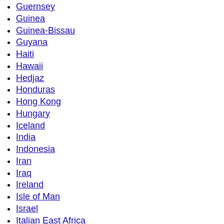Guernsey
Guinea
Guinea-Bissau
Guyana
Haiti
Hawaii
Hedjaz
Honduras
Hong Kong
Hungary
Iceland
India
Indonesia
Iran
Iraq
Ireland
Isle of Man
Israel
Italian East Africa
Italian Somaliland
Ivory Coast
Jamaica
Japan
Jersey
Jordan
Katanga